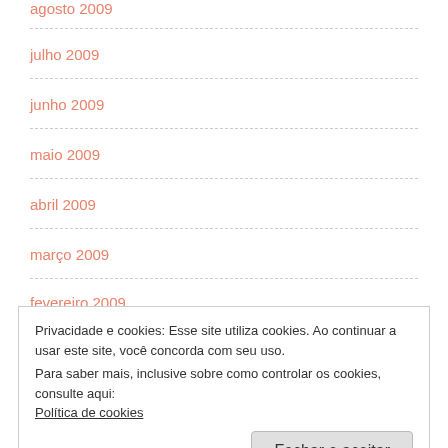agosto 2009
julho 2009
junho 2009
maio 2009
abril 2009
março 2009
fevereiro 2009
Privacidade e cookies: Esse site utiliza cookies. Ao continuar a usar este site, você concorda com seu uso.
Para saber mais, inclusive sobre como controlar os cookies, consulte aqui:
Política de cookies
outubro 2008